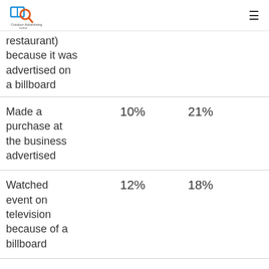Outdoor Advertising India
| Action | Col1 | Col2 | Col3 |
| --- | --- | --- | --- |
| (restaurant) because it was advertised on a billboard |  |  |  |
| Made a purchase at the business advertised | 10% | 21% | 20% |
| Watched event on television because of a billboard | 12% | 18% | 16% |
| Tuned in to the | 17% | 11% | 15% |